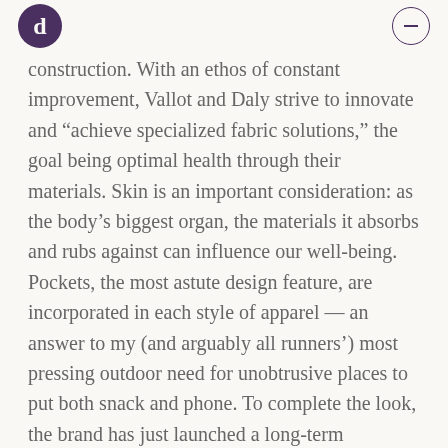[logo] [menu button]
construction. With an ethos of constant improvement, Vallot and Daly strive to innovate and “achieve specialized fabric solutions,” the goal being optimal health through their materials. Skin is an important consideration: as the body’s biggest organ, the materials it absorbs and rubs against can influence our well-being. Pockets, the most astute design feature, are incorporated in each style of apparel — an answer to my (and arguably all runners’) most pressing outdoor need for unobtrusive places to put both snack and phone. To complete the look, the brand has just launched a long-term partnership with New Balance for footwear.
At the summit of Topanga State Park, I listen to